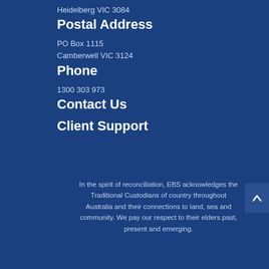Heidelberg VIC 3084
Postal Address
PO Box 1115
Camberwell VIC 3124
Phone
1300 303 973
Contact Us
Client Support
In the spirit of reconciliation, EBS acknowledges the Traditional Custodians of country throughout Australia and their connections to land, sea and community. We pay our respect to their elders past, present and emerging.